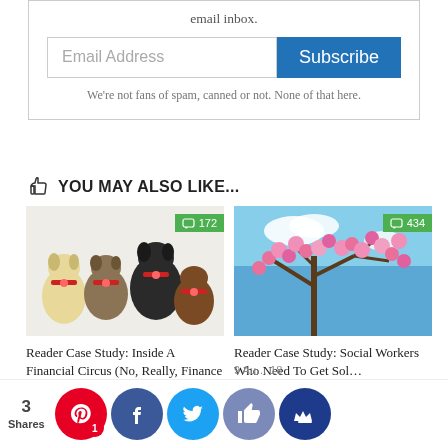email inbox.
Email Address
Subscribe
We're not fans of spam, canned or not. None of that here.
YOU MAY ALSO LIKE...
[Figure (photo): Five dogs wearing red floral collars posed together on a white background. Comment badge shows 172.]
[Figure (photo): Pink cherry blossom tree branches against a blue sky. Comment badge shows 434.]
Reader Case Study: Inside A Financial Circus (No, Really, Finance Is An Actu…
Reader Case Study: Social Workers Who Need To Get Sol…
9 Au… 18
3
Shares
[Figure (logo): Pinterest share button (red circle, P icon, badge showing 1)]
[Figure (logo): Facebook share button (dark blue circle, f icon)]
[Figure (logo): Twitter share button (light blue circle, bird icon)]
[Figure (logo): Like/thumbs-up button (grey-blue circle, thumbs up icon)]
[Figure (logo): Crown/bookmark button (dark navy circle, crown icon)]